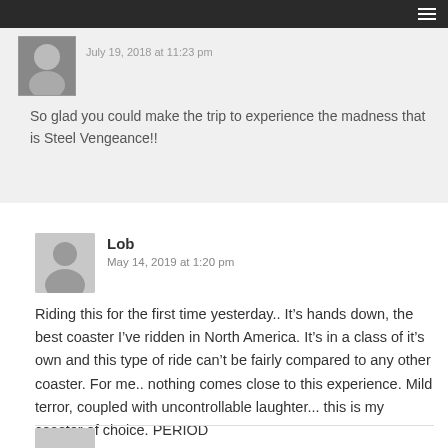July 19, 2018 at 11:23 pm
So glad you could make the trip to experience the madness that is Steel Vengeance!!
Lob
May 14, 2019 at 1:20 pm
Riding this for the first time yesterday.. It’s hands down, the best coaster I’ve ridden in North America. It’s in a class of it’s own and this type of ride can’t be fairly compared to any other coaster. For me.. nothing comes close to this experience. Mild terror, coupled with uncontrollable laughter... this is my coaster of choice. PERIOD